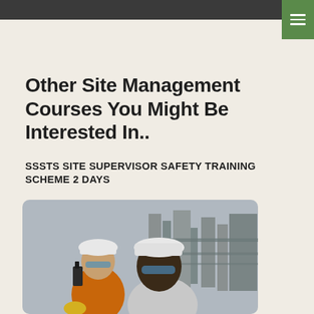Other Site Management Courses You Might Be Interested In..
SSSTS SITE SUPERVISOR SAFETY TRAINING SCHEME 2 DAYS
[Figure (photo): Two construction workers wearing white hard hats and safety glasses at an industrial site, one holding a walkie-talkie radio]